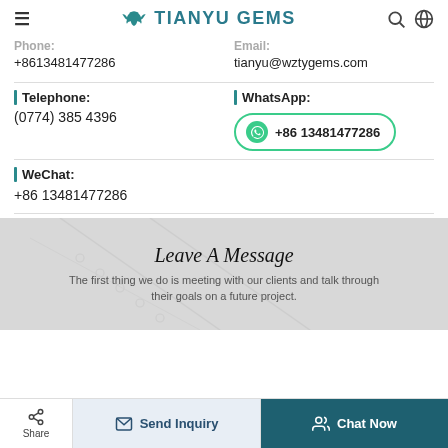TIANYU GEMS
Phone: +8613481477286
Email: tianyu@wztygems.com
Telephone: (0774) 385 4396
WhatsApp: +86 13481477286
WeChat: +86 13481477286
Leave A Message
The first thing we do is meeting with our clients and talk through their goals on a future project.
Share | Send Inquiry | Chat Now